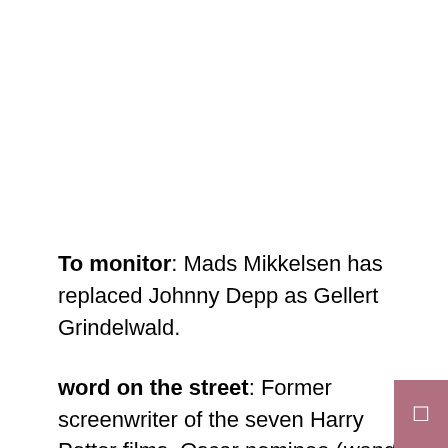To monitor: Mads Mikkelsen has replaced Johnny Depp as Gellert Grindelwald.
word on the street: Former screenwriter of the seven Harry Potter films, Oscar nominee (wonder boys) screenwriter Steve Kloves joined JK Rowling to write the screenplay for this film.